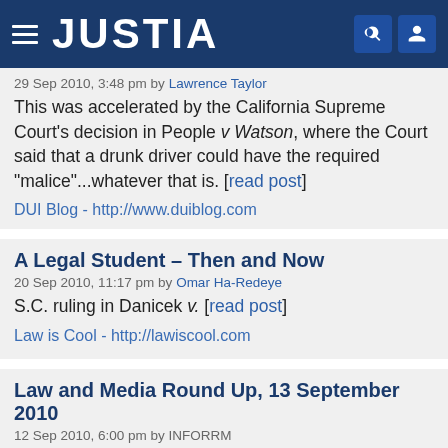JUSTIA
29 Sep 2010, 3:48 pm by Lawrence Taylor
This was accelerated by the California Supreme Court's decision in People v Watson, where the Court said that a drunk driver could have the required "malice"...whatever that is. [read post]
DUI Blog - http://www.duiblog.com
A Legal Student – Then and Now
20 Sep 2010, 11:17 pm by Omar Ha-Redeye
S.C. ruling in Danicek v. [read post]
Law is Cool - http://lawiscool.com
Law and Media Round Up, 13 September 2010
12 Sep 2010, 6:00 pm by INFORRM